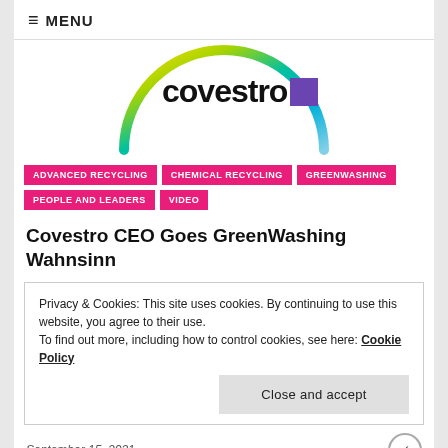MENU
[Figure (logo): Covestro logo with colorful circular arc (yellow, green, blue gradient) and purple square accent]
ADVANCED RECYCLING
CHEMICAL RECYCLING
GREENWASHING
PEOPLE AND LEADERS
VIDEO
Covestro CEO Goes GreenWashing Wahnsinn
Privacy & Cookies: This site uses cookies. By continuing to use this website, you agree to their use.
To find out more, including how to control cookies, see here: Cookie Policy
Close and accept
September 15, 2021
[Figure (photo): Bottom portion of page showing light blue background with colorful figure/person at center bottom]